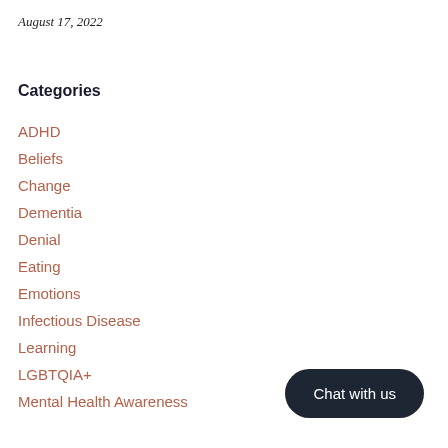August 17, 2022
Categories
ADHD
Beliefs
Change
Dementia
Denial
Eating
Emotions
Infectious Disease
Learning
LGBTQIA+
Mental Health Awareness
Chat with us